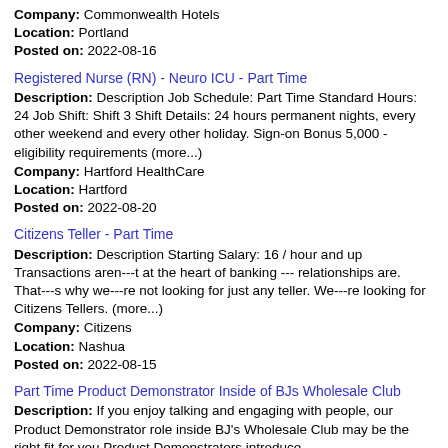Company: Commonwealth Hotels
Location: Portland
Posted on: 2022-08-16
Registered Nurse (RN) - Neuro ICU - Part Time
Description: Description Job Schedule: Part Time Standard Hours: 24 Job Shift: Shift 3 Shift Details: 24 hours permanent nights, every other weekend and every other holiday. Sign-on Bonus 5,000 - eligibility requirements (more...)
Company: Hartford HealthCare
Location: Hartford
Posted on: 2022-08-20
Citizens Teller - Part Time
Description: Description Starting Salary: 16 / hour and up Transactions aren---t at the heart of banking --- relationships are. That---s why we---re not looking for just any teller. We---re looking for Citizens Tellers. (more...)
Company: Citizens
Location: Nashua
Posted on: 2022-08-15
Part Time Product Demonstrator Inside of BJs Wholesale Club
Description: If you enjoy talking and engaging with people, our Product Demonstrator role inside BJ's Wholesale Club may be the right fit for you Product Demonstrators introduce
Company: Advantage Solutions